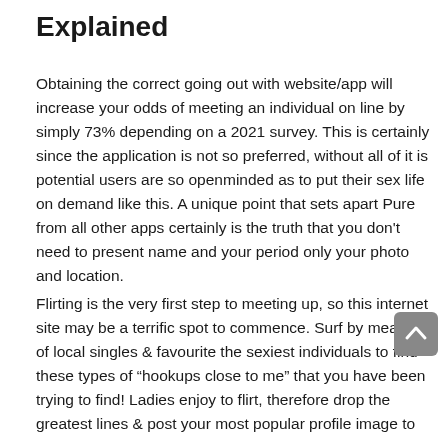Explained
Obtaining the correct going out with website/app will increase your odds of meeting an individual on line by simply 73% depending on a 2021 survey. This is certainly since the application is not so preferred, without all of it is potential users are so openminded as to put their sex life on demand like this. A unique point that sets apart Pure from all other apps certainly is the truth that you don't need to present name and your period only your photo and location.
Flirting is the very first step to meeting up, so this internet site may be a terrific spot to commence. Surf by means of local singles & favourite the sexiest individuals to find these types of “hookups close to me” that you have been trying to find! Ladies enjoy to flirt, therefore drop the greatest lines & post your most popular profile image to